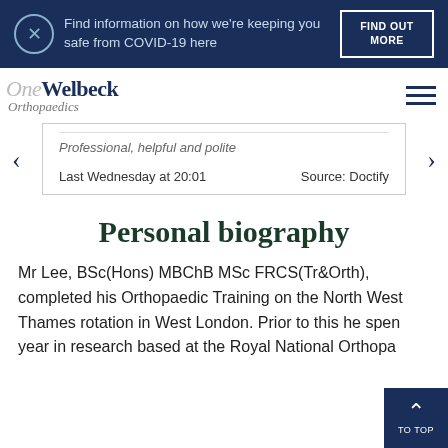Find information on how we're keeping you safe from COVID-19 here
FIND OUT MORE
[Figure (logo): OneWelbeck Orthopaedics logo]
Professional, helpful and polite
Last Wednesday at 20:01
Source: Doctify
Personal biography
Mr Lee, BSc(Hons) MBChB MSc FRCS(Tr&Orth), completed his Orthopaedic Training on the North West Thames rotation in West London. Prior to this he spent a year in research based at the Royal National Orthopaedic Hospital (RNOH)